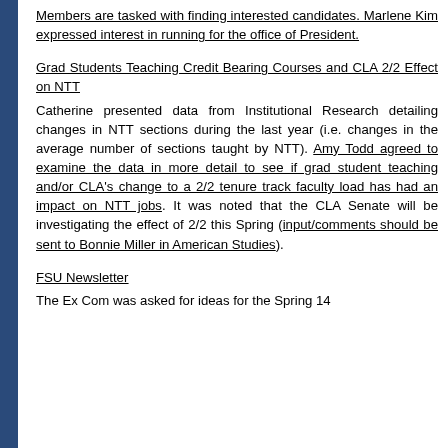Members are tasked with finding interested candidates. Marlene Kim expressed interest in running for the office of President.
Grad Students Teaching Credit Bearing Courses and CLA 2/2 Effect on NTT
Catherine presented data from Institutional Research detailing changes in NTT sections during the last year (i.e. changes in the average number of sections taught by NTT). Amy Todd agreed to examine the data in more detail to see if grad student teaching and/or CLA's change to a 2/2 tenure track faculty load has had an impact on NTT jobs. It was noted that the CLA Senate will be investigating the effect of 2/2 this Spring (input/comments should be sent to Bonnie Miller in American Studies).
FSU Newsletter
The Ex Com was asked for ideas for the Spring 14